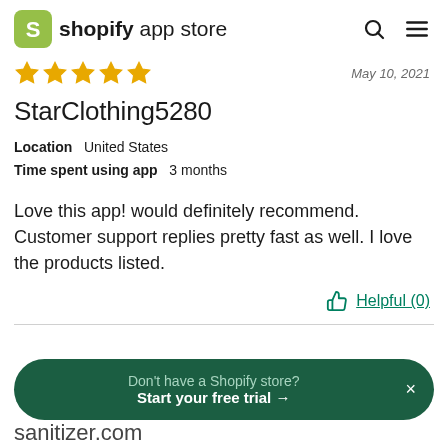shopify app store
May 10, 2021
StarClothing5280
Location   United States
Time spent using app   3 months
Love this app! would definitely recommend. Customer support replies pretty fast as well. I love the products listed.
Helpful (0)
Don't have a Shopify store?
Start your free trial →
sanitizer.com